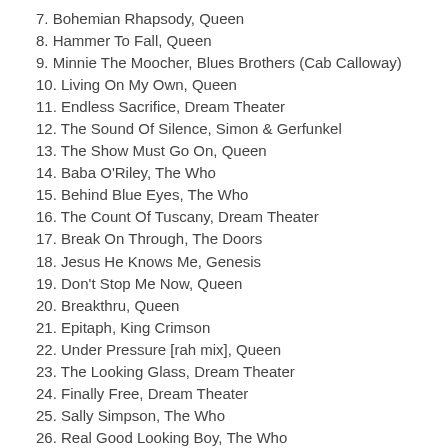7. Bohemian Rhapsody, Queen
8. Hammer To Fall, Queen
9. Minnie The Moocher, Blues Brothers (Cab Calloway)
10. Living On My Own, Queen
11. Endless Sacrifice, Dream Theater
12. The Sound Of Silence, Simon & Gerfunkel
13. The Show Must Go On, Queen
14. Baba O'Riley, The Who
15. Behind Blue Eyes, The Who
16. The Count Of Tuscany, Dream Theater
17. Break On Through, The Doors
18. Jesus He Knows Me, Genesis
19. Don't Stop Me Now, Queen
20. Breakthru, Queen
21. Epitaph, King Crimson
22. Under Pressure [rah mix], Queen
23. The Looking Glass, Dream Theater
24. Finally Free, Dream Theater
25. Sally Simpson, The Who
26. Real Good Looking Boy, The Who
27. Viva La Vida, Coldplay
28. Hotel California, The Eagles
29. …